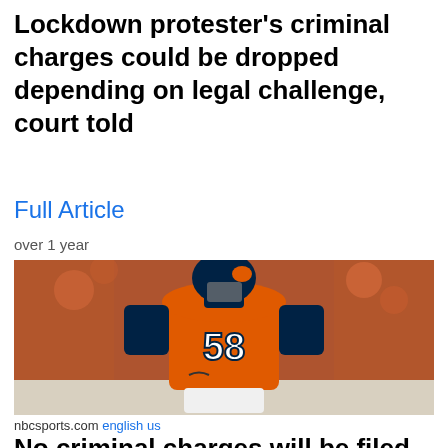Lockdown protester's criminal charges could be dropped depending on legal challenge, court told
Full Article
over 1 year
[Figure (photo): NFL player wearing Denver Broncos orange jersey number 58, in full uniform with helmet, standing on field with blurred crowd in background]
nbcsports.com english us
No criminal charges will be filed